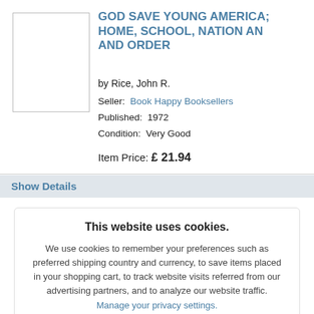[Figure (other): Book cover placeholder image, empty white rectangle with border]
GOD SAVE YOUNG AMERICA; HOME, SCHOOL, NATION AND ORDER
by Rice, John R.
Seller: Book Happy Booksellers
Published: 1972
Condition: Very Good
Item Price: £21.94
Show Details
This website uses cookies.
We use cookies to remember your preferences such as preferred shipping country and currency, to save items placed in your shopping cart, to track website visits referred from our advertising partners, and to analyze our website traffic. Manage your privacy settings.
AGREE AND CLOSE